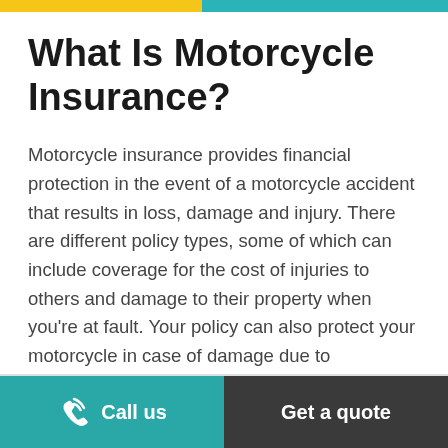What Is Motorcycle Insurance?
Motorcycle insurance provides financial protection in the event of a motorcycle accident that results in loss, damage and injury. There are different policy types, some of which can include coverage for the cost of injuries to others and damage to their property when you're at fault. Your policy can also protect your motorcycle in case of damage due to unexpected events, such as fire, and damaging weather.